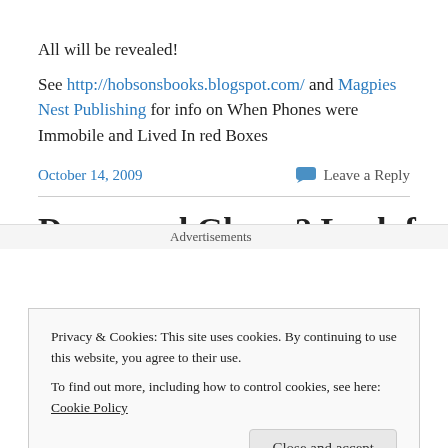All will be revealed!
See http://hobsonsbooks.blogspot.com/ and Magpies Nest Publishing for info on When Phones were Immobile and Lived In red Boxes
October 14, 2009
Leave a Reply
Doom and Gloom? Look for
Privacy & Cookies: This site uses cookies. By continuing to use this website, you agree to their use.
To find out more, including how to control cookies, see here: Cookie Policy
Close and accept
Advertisements